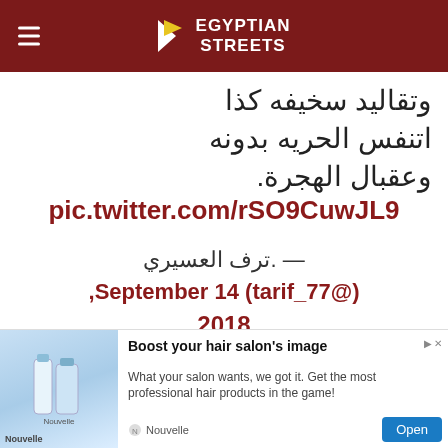Egyptian Streets
[Figure (screenshot): Tweet screenshot showing Arabic text: وتقاليد سخيفه كذا اتنفس الحريه بدونه وعقبال الهجرة. pic.twitter.com/rSO9CuwJL9 — .ترف العسيري (@tarif_77) September 14, 2018]
[Figure (screenshot): Advertisement banner for Nouvelle hair salon products: 'Boost your hair salon's image - What your salon wants, we got it. Get the most professional hair products in the game!' with Open button]